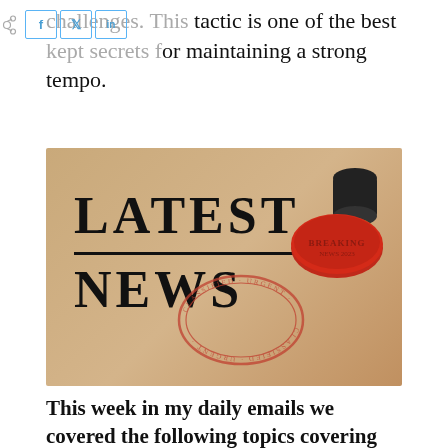challenges. This tactic is one of the best kept secrets for maintaining a strong tempo.
[Figure (photo): A 'LATEST NEWS' stamp image on a kraft paper background with a red rubber stamp being pressed into the text, and a circular ink stamp mark visible over the word NEWS.]
This week in my daily emails we covered the following topics covering workout ideas for